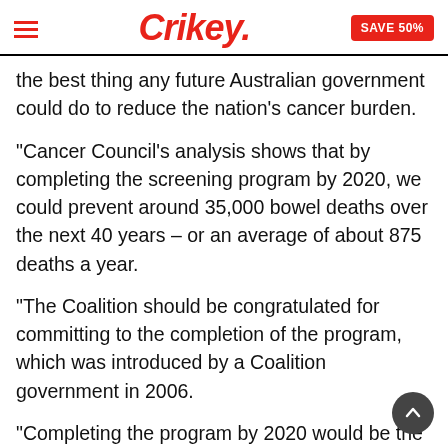Crikey. | SAVE 50%
the best thing any future Australian government could do to reduce the nation's cancer burden.
“Cancer Council’s analysis shows that by completing the screening program by 2020, we could prevent around 35,000 bowel deaths over the next 40 years – or an average of about 875 deaths a year.
“The Coalition should be congratulated for committing to the completion of the program, which was introduced by a Coalition government in 2006.
“Completing the program by 2020 would be the best thing any government could do to reduce the nation's cancer burden.”